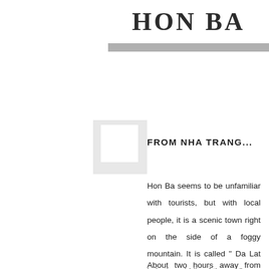HON BA
FROM NHA TRANG...
Hon Ba seems to be unfamiliar with tourists, but with local people, it is a scenic town right on the side of a foggy mountain. It is called " Da Lat in in the middle of the sea"
About two hours away from Nha...